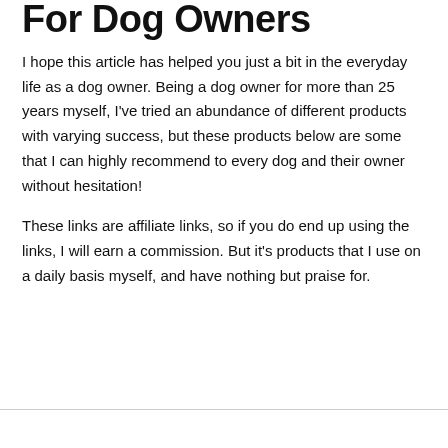For Dog Owners
I hope this article has helped you just a bit in the everyday life as a dog owner. Being a dog owner for more than 25 years myself, I've tried an abundance of different products with varying success, but these products below are some that I can highly recommend to every dog and their owner without hesitation!
These links are affiliate links, so if you do end up using the links, I will earn a commission. But it's products that I use on a daily basis myself, and have nothing but praise for.